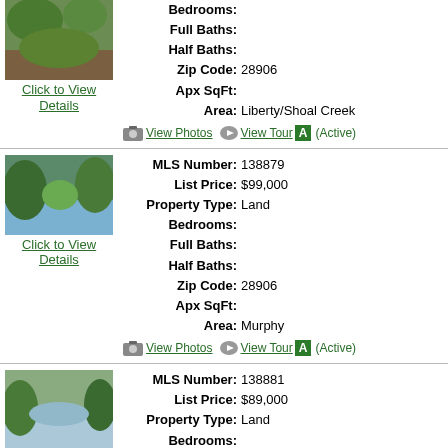[Figure (photo): Top listing photo (partial, cropped at top) - vegetation/nature scene]
Click to View Details
Bedrooms:
Full Baths:
Half Baths:
Zip Code: 28906
Apx SqFt:
Area: Liberty/Shoal Creek
View Photos  View Tour A (Active)
[Figure (photo): Second listing photo - river/creek with trees]
Click to View Details
MLS Number: 138879
List Price: $99,000
Property Type: Land
Bedrooms:
Full Baths:
Half Baths:
Zip Code: 28906
Apx SqFt:
Area: Murphy
View Photos  View Tour A (Active)
[Figure (photo): Third listing photo - river/water scene with trees]
Click to View Details
MLS Number: 138881
List Price: $89,000
Property Type: Land
Bedrooms:
Full Baths:
Half Baths: